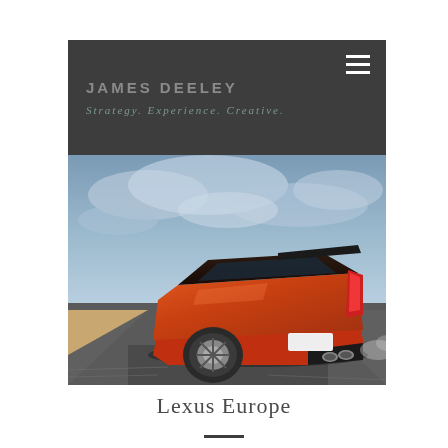JAMES DEELEY
Strategy. Experience. Creative.
[Figure (photo): Rear three-quarter view of an orange Lexus RC F sports car driving on a racetrack with dramatic cloudy sky backdrop. The car features large exhaust pipes and a sport spoiler.]
Lexus Europe